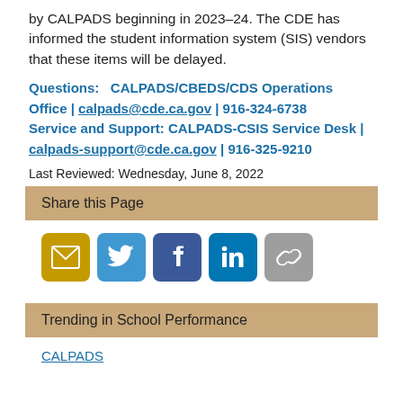by CALPADS beginning in 2023–24. The CDE has informed the student information system (SIS) vendors that these items will be delayed.
Questions: CALPADS/CBEDS/CDS Operations Office | calpads@cde.ca.gov | 916-324-6738 Service and Support: CALPADS-CSIS Service Desk | calpads-support@cde.ca.gov | 916-325-9210
Last Reviewed: Wednesday, June 8, 2022
Share this Page
[Figure (infographic): Row of social share buttons: Email (gold/yellow), Twitter (blue), Facebook (dark blue), LinkedIn (blue), Link/Copy (gray)]
Trending in School Performance
CALPADS